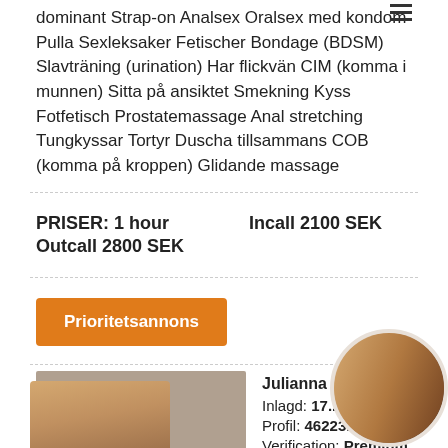dominant Strap-on Analsex Oralsex med kondom Pulla Sexleksaker Fetischer Bondage (BDSM) Slavträning (urination) Har flickvän CIM (komma i munnen) Sitta på ansiktet Smekning Kyss Fotfetisch Prostatemassage Anal stretching Tungkyssar Tortyr Duscha tillsammans COB (komma på kroppen) Glidande massage
PRISER: 1 hour   Incall 2100 SEK
Outcall 2800 SEK
Prioritetsannons
[Figure (photo): Blonde woman taking selfie in mirror, wearing black outfit]
Julianna s
Inlagd: 17...
Profil: 46223...
Verification: Premium
[Figure (photo): Circular cropped photo showing torso]